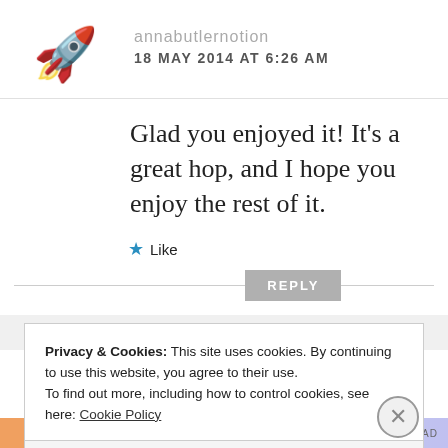[Figure (illustration): Rocket ship emoji/avatar icon]
annabutlernotion
18 MAY 2014 AT 6:26 AM
Glad you enjoyed it! It's a great hop, and I hope you enjoy the rest of it.
★ Like
REPLY
Privacy & Cookies: This site uses cookies. By continuing to use this website, you agree to their use.
To find out more, including how to control cookies, see here: Cookie Policy
Close and accept